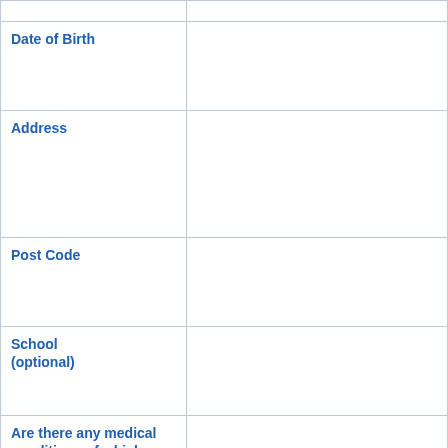| Field | Value |
| --- | --- |
|  |  |
| Date of Birth |  |
| Address |  |
| Post Code |  |
| School (optional) |  |
| Are there any medical conditions of which we should be aware ? If so, please give details. |  |
| Title & Name of Parent / Guardian |  |
| Address (if different from above) |  |